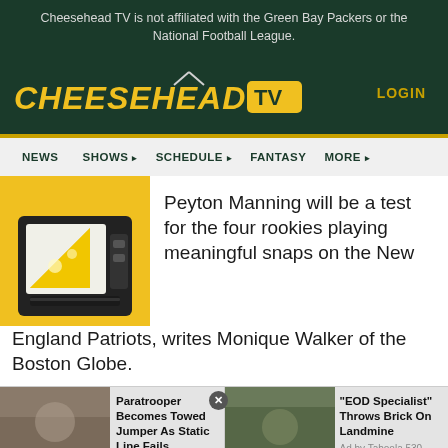Cheesehead TV is not affiliated with the Green Bay Packers or the National Football League.
[Figure (logo): Cheesehead TV logo with yellow text and gold TV box icon with antenna]
LOGIN
NEWS  SHOWS  SCHEDULE  FANTASY  MORE
[Figure (illustration): Cheesehead TV logo illustration - yellow cheese wedge inside a retro TV screen with black frame on yellow background]
Peyton Manning will be a test for the four rookies playing meaningful snaps on the New England Patriots, writes Monique Walker of the Boston Globe.
Paratrooper Becomes Towed Jumper As Static Line Fails
"EOD Specialist" Throws Brick On Landmine